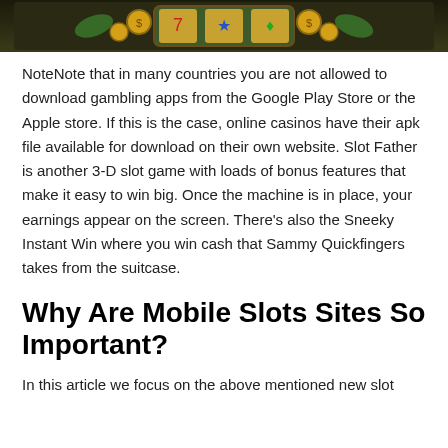[Figure (illustration): Dark-themed slot machine game banner with colorful slot reels graphic on dark olive/brown background]
NoteNote that in many countries you are not allowed to download gambling apps from the Google Play Store or the Apple store. If this is the case, online casinos have their apk file available for download on their own website. Slot Father is another 3-D slot game with loads of bonus features that make it easy to win big. Once the machine is in place, your earnings appear on the screen. There's also the Sneeky Instant Win where you win cash that Sammy Quickfingers takes from the suitcase.
Why Are Mobile Slots Sites So Important?
In this article we focus on the above mentioned new slot